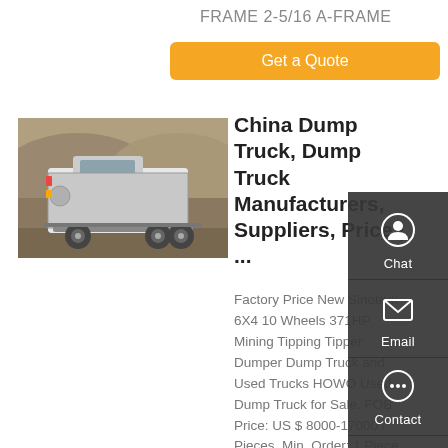FRAME 2-5/16 A-FRAME
Get a Quote
[Figure (photo): Rear view of a white heavy-duty dump truck (HOWO/Sinotruk) parked in a rocky/dusty area with other trucks in background]
China Dump Truck, Dump Truck Manufacturers, Suppliers, Price | ...
Factory Price New Sinotruk 6X4 10 Wheels 371HP Mining Tipping Tipper Dumper Dump Truck and Used Trucks HOWO Used Dump Truck for Sale. FOB Price: US $ 8000-17000 / Pieces. Min. Order: 1 Piece. After-sales